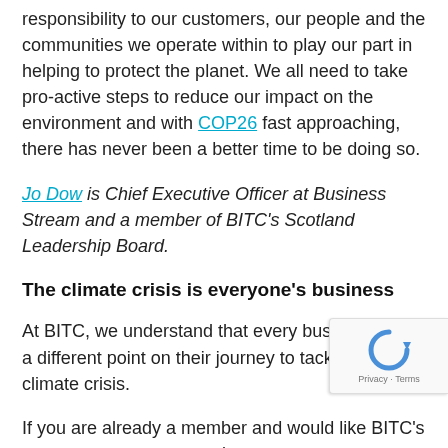responsibility to our customers, our people and the communities we operate within to play our part in helping to protect the planet. We all need to take pro-active steps to reduce our impact on the environment and with COP26 fast approaching, there has never been a better time to be doing so.
Jo Dow is Chief Executive Officer at Business Stream and a member of BITC's Scotland Leadership Board.
The climate crisis is everyone's business
At BITC, we understand that every business is at a different point on their journey to tackling the climate crisis.
If you are already a member and would like BITC's support on your net zero journey contact your relationship manager.
If you are not a BITC member talk to one of our expert